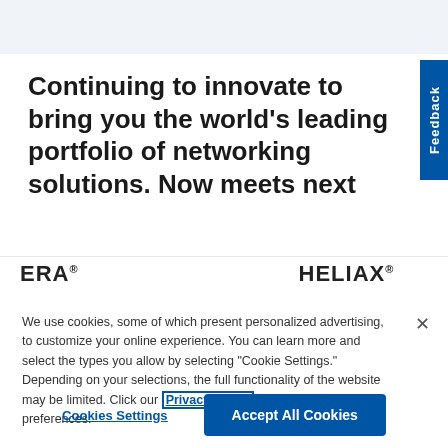[Figure (screenshot): Light gray top navigation bar of a website]
Continuing to innovate to bring you the world's leading portfolio of networking solutions. Now meets next
[Figure (logo): Partial logos: ERA® and HELIAX® product family logos partially visible]
We use cookies, some of which present personalized advertising, to customize your online experience. You can learn more and select the types you allow by selecting "Cookie Settings." Depending on your selections, the full functionality of the website may be limited. Click our Privacy Policy to manage your preferences.
Cookies Settings
Accept All Cookies